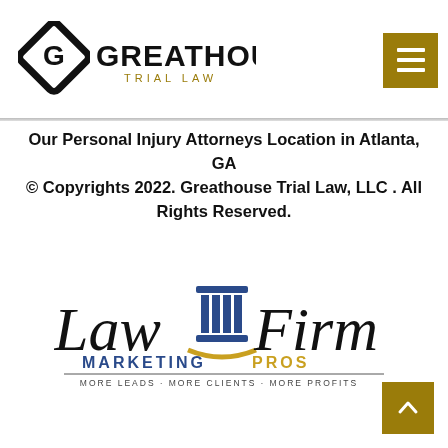[Figure (logo): Greathouse Trial Law logo — stylized G diamond icon in black and a menu hamburger button in gold]
Our Personal Injury Attorneys Location in Atlanta, GA
© Copyrights 2022. Greathouse Trial Law, LLC . All Rights Reserved.
[Figure (logo): Law Firm Marketing Pros logo — law firm text with blue column icon, gold arc, and tagline MORE LEADS · MORE CLIENTS · MORE PROFITS]